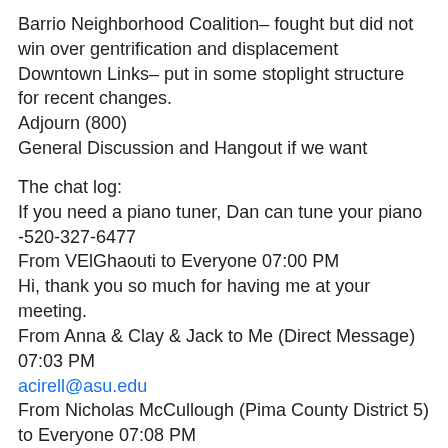Barrio Neighborhood Coalition– fought but did not win over gentrification and displacement
Downtown Links– put in some stoplight structure for recent changes.
Adjourn (800)
General Discussion and Hangout if we want
The chat log:
If you need a piano tuner, Dan can tune your piano -520-327-6477
From VElGhaouti to Everyone 07:00 PM
Hi, thank you so much for having me at your meeting.
From Anna & Clay & Jack to Me (Direct Message) 07:03 PM
acirell@asu.edu
From Nicholas McCullough (Pima County District 5) to Everyone 07:08 PM
Nicholas McCullough: